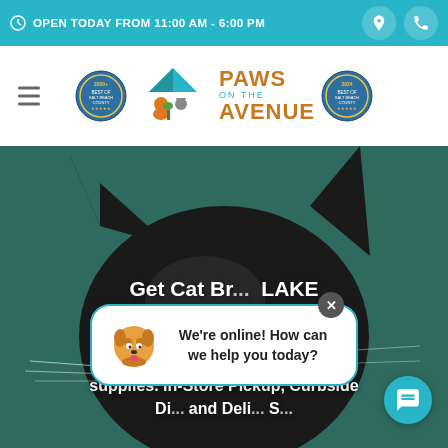OPEN TODAY FROM 11:00 AM - 6:00 PM
[Figure (logo): Paws on the Avenue logo with two badge seals and a central dog/cat graphic]
[Figure (photo): Black cat peeking over a green background, showing top of head and ears]
Get Cat Br... LAKE W...
The Best Se... Bi... supplies. In-Store Pickup, Curbside Di... and Deli... S...
We're online! How can we help you today?